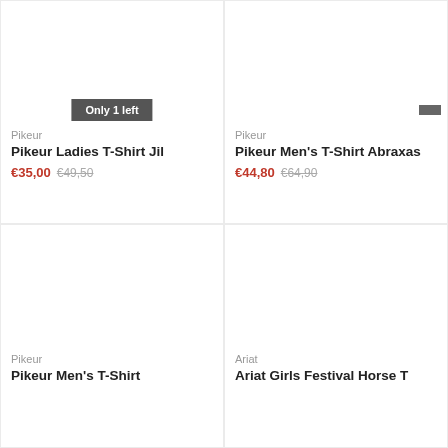[Figure (photo): Product image area for Pikeur Ladies T-Shirt Jil (white/empty image area)]
Pikeur
Pikeur Ladies T-Shirt Jil
€35,00  €49,50
[Figure (photo): Product image area for Pikeur Men's T-Shirt Abraxas (white/empty image area)]
Pikeur
Pikeur Men's T-Shirt Abraxas
€44,80  €64,90
[Figure (photo): Product image area for Pikeur Men's T-Shirt (bottom left, white/empty)]
Pikeur
Pikeur Men's T-Shirt
[Figure (photo): Product image area for Ariat Girls Festival Horse T-Shirt (bottom right, white/empty)]
Ariat
Ariat Girls Festival Horse T